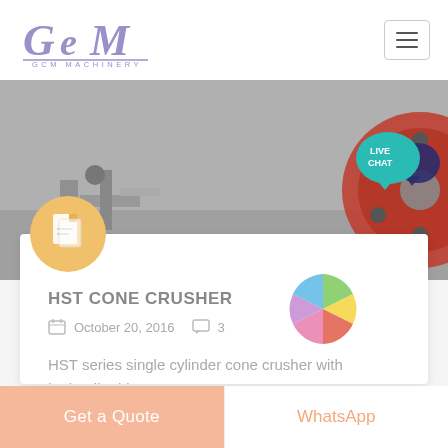[Figure (logo): GCM Machinery logo with stylized italic GCM text in purple/lavender and 'GCM MACHINERY' subtitle]
[Figure (photo): Grayscale industrial machinery photo showing a large red mechanical wheel/pulley and conveyor equipment]
[Figure (illustration): Live Chat button - teal speech bubble with 'LIVE CHAT' text and dark blue speech bubble icon]
[Figure (illustration): Yellow/gold circular icon with document/file symbol inside]
[Figure (illustration): Colorful pinwheel/loading spinner with segments in green, yellow, red, pink, purple, and blue]
HST CONE CRUSHER
October 20, 2016
3
HST series single cylinder cone crusher with hydraulic-driven...
Get a Quote
WhatsApp